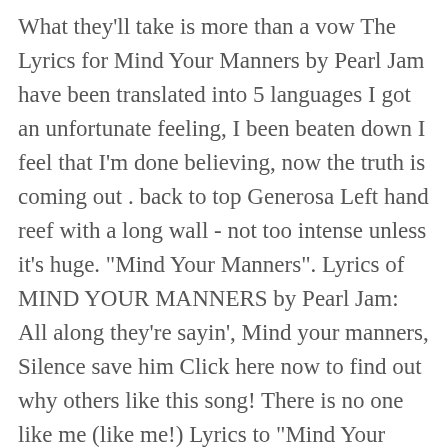What they'll take is more than a vow The Lyrics for Mind Your Manners by Pearl Jam have been translated into 5 languages I got an unfortunate feeling, I been beaten down I feel that I'm done believing, now the truth is coming out . back to top Generosa Left hand reef with a long wall - not too intense unless it's huge. "Mind Your Manners". Lyrics of MIND YOUR MANNERS by Pearl Jam: All along they're sayin', Mind your manners, Silence save him Click here now to find out why others like this song! There is no one like me (like me!) Lyrics to "Mind Your Manners" on Lyrics.com. Pearl Jam - Mind Your Manners Lyrics. Follow @genius (Mind your manners) Manners you better reconsider (consider) cause you will never do better (do better) There is no one like me, like me (shouts) Mind your manners We gonna be here forever man Chiddy ughh